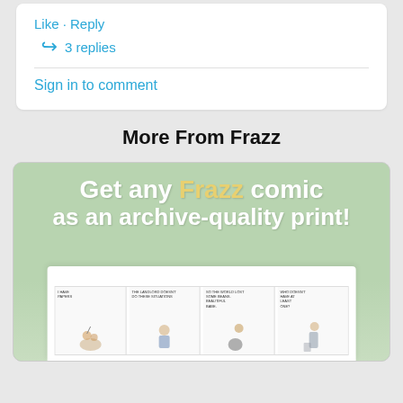Like • Reply
3 replies
Sign in to comment
More From Frazz
[Figure (illustration): Promotional banner for Frazz comic prints. Green background with text 'Get any Frazz comic as an archive-quality print!' with a comic strip image below.]